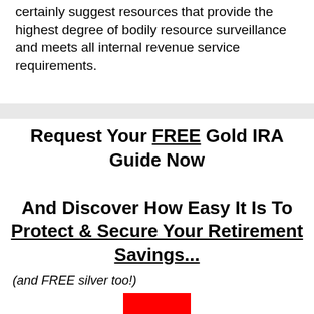certainly suggest resources that provide the highest degree of bodily resource surveillance and meets all internal revenue service requirements.
Request Your FREE Gold IRA Guide Now
And Discover How Easy It Is To Protect & Secure Your Retirement Savings...
(and FREE silver too!)